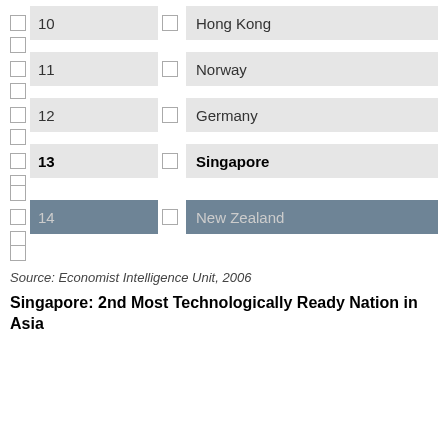10  Hong Kong
11  Norway
12  Germany
13  Singapore
14  New Zealand
Source: Economist Intelligence Unit, 2006
Singapore: 2nd Most Technologically Ready Nation in Asia